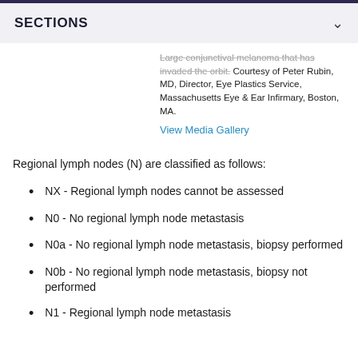SECTIONS
Large conjunctival melanoma that has invaded the orbit. Courtesy of Peter Rubin, MD, Director, Eye Plastics Service, Massachusetts Eye & Ear Infirmary, Boston, MA.
View Media Gallery
Regional lymph nodes (N) are classified as follows:
NX - Regional lymph nodes cannot be assessed
N0 - No regional lymph node metastasis
N0a - No regional lymph node metastasis, biopsy performed
N0b - No regional lymph node metastasis, biopsy not performed
N1 - Regional lymph node metastasis